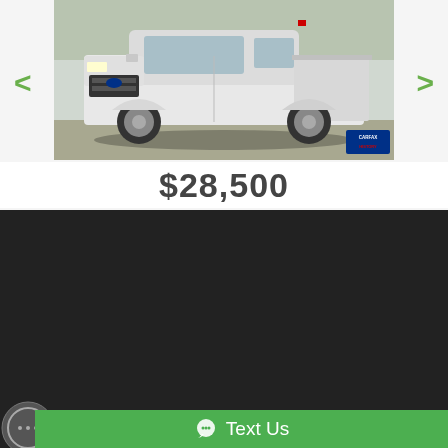[Figure (photo): White Ford F-150 truck parked in a lot, front 3/4 view, with Carfax badge overlay in bottom right corner]
$28,500
[Figure (other): Social media icons: Facebook (f), YouTube (play button), Google (G)]
Your Premier Car Dealership In Tupelo, MS
Home | About Us | Contact Us | Privacy Policy
Dealer Car Search Login | Copyright 2022 | Sitemap
Nolan Brothers Motor Sales 1425 East Main Street, Tupelo, MS 38804 662-680-5070
Text Us